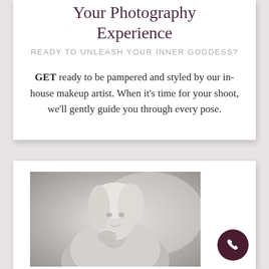Your Photography Experience
READY TO UNLEASH YOUR INNER GODDESS?
GET ready to be pampered and styled by our in-house makeup artist. When it's time for your shoot, we'll gently guide you through every pose.
[Figure (photo): Black and white portrait of a blonde woman looking over her shoulder, wearing a soft knit sweater, in a light studio setting.]